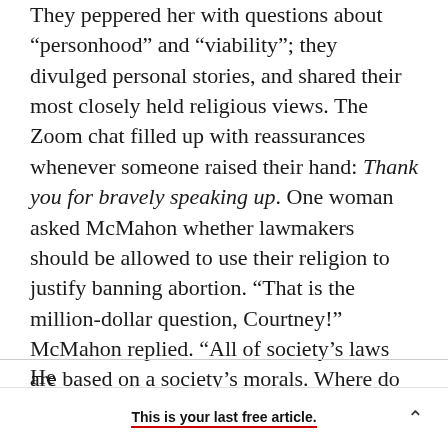They peppered her with questions about “personhood” and “viability”; they divulged personal stories, and shared their most closely held religious views. The Zoom chat filled up with reassurances whenever someone raised their hand: Thank you for bravely speaking up. One woman asked McMahon whether lawmakers should be allowed to use their religion to justify banning abortion. “That is the million-dollar question, Courtney!” McMahon replied. “All of society’s laws are based on a society’s morals. Where do people’s morals come from?”
This is your last free article.